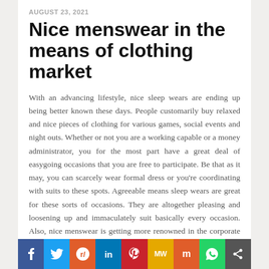AUGUST 23, 2021
Nice menswear in the means of clothing market
With an advancing lifestyle, nice sleep wears are ending up being better known these days. People customarily buy relaxed and nice pieces of clothing for various games, social events and night outs. Whether or not you are a working capable or a money administrator, you for the most part have a great deal of easygoing occasions that you are free to participate. Be that as it may, you can scarcely wear formal dress or you're coordinating with suits to these spots. Agreeable means sleep wears are great for these sorts of occasions. They are altogether pleasing and loosening up and immaculately suit basically every occasion. Also, nice menswear is getting more renowned in the corporate world these days and splendidly tinted sleep wears or those with added neck
f  Twitter  Reddit  in  Pinterest  MW  Mix  WhatsApp  Share